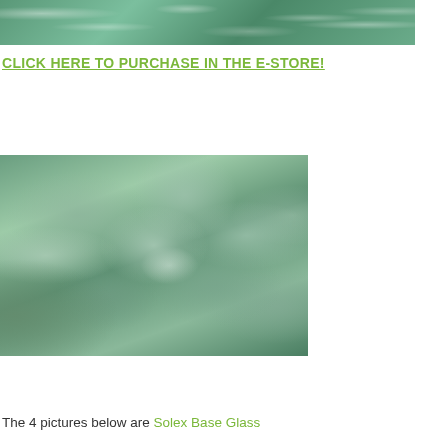[Figure (photo): Close-up photo of green/teal glass pieces or crushed glass aggregate against a dark background, showing crystalline texture]
CLICK HERE TO PURCHASE IN THE E-STORE!
[Figure (photo): Close-up photo of small green/clear glass aggregate pieces (Solex Base Glass), showing fine crushed glass texture with light reflections]
The 4 pictures below are Solex Base Glass